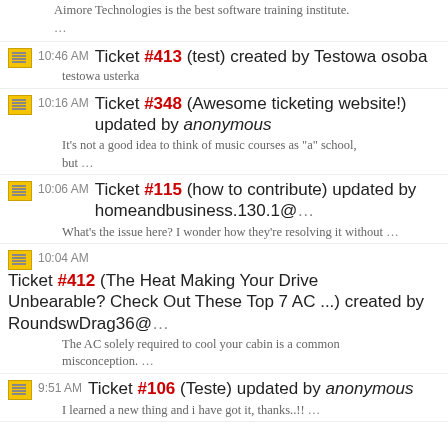Aimore Technologies is the best software training institute. …
10:46 AM Ticket #413 (test) created by Testowa osoba — testowa usterka
10:16 AM Ticket #348 (Awesome ticketing website!) updated by anonymous — It's not a good idea to think of music courses as "a" school, but …
10:06 AM Ticket #115 (how to contribute) updated by homeandbusiness.130.1@… — What's the issue here? I wonder how they're resolving it without …
10:04 AM Ticket #412 (The Heat Making Your Drive Unbearable? Check Out These Top 7 AC ...) created by RoundswDrag36@… — The AC solely required to cool your cabin is a common misconception. …
9:51 AM Ticket #106 (Teste) updated by anonymous — I learned a new thing and i have got it, thanks..!! …